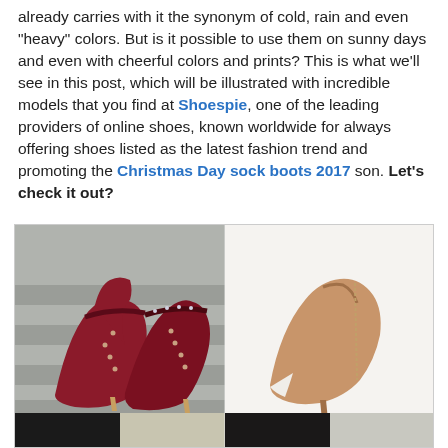already carries with it the synonym of cold, rain and even "heavy" colors. But is it possible to use them on sunny days and even with cheerful colors and prints? This is what we'll see in this post, which will be illustrated with incredible models that you find at Shoespie, one of the leading providers of online shoes, known worldwide for always offering shoes listed as the latest fashion trend and promoting the Christmas Day sock boots 2017 son. Let's check it out?
[Figure (photo): Two photos of women's high heel shoes side by side. Left: dark burgundy/wine colored studded ankle strap stiletto heels on steps. Right: tan/camel colored open-toe peep-toe mule high heel boot on white background. Below: partial bottom images of more shoes.]